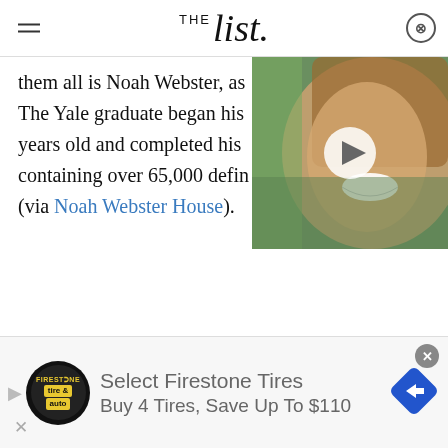THE List
them all is Noah Webster, as The Yale graduate began his [work] years old and completed his [dictionary] containing over 65,000 defin[itions] (via Noah Webster House).
[Figure (photo): Video thumbnail showing a smiling woman with brown hair, with a white play button overlay]
[Figure (infographic): Advertisement banner for Firestone Tires: Select Firestone Tires, Buy 4 Tires, Save Up To $110, with Firestone auto logo and blue arrow logo]